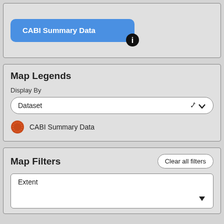[Figure (screenshot): Blue rounded button labeled 'CABI Summary Data' with an information icon in the bottom-right corner]
Map Legends
Display By
Dataset
CABI Summary Data
Map Filters
Clear all filters
Extent